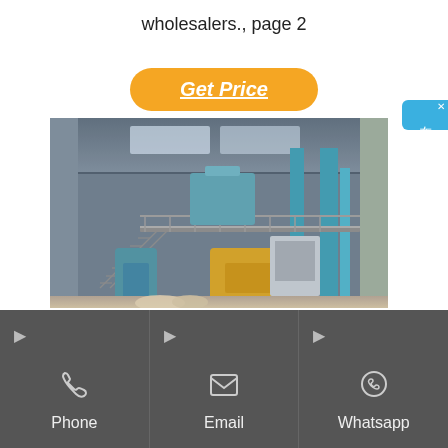wholesalers., page 2
Get Price
[Figure (photo): Industrial oil processing plant interior showing multi-story steel structure with blue columns, staircases, and machinery including yellow and blue processing equipment inside a large factory building.]
Global Vegetable Oil
[Figure (other): Sidebar chat widget with blue background displaying Chinese characters: 在线咨询 (Online Consultation)]
Phone
Email
Whatsapp